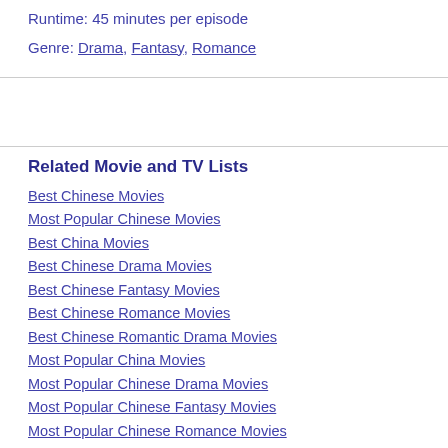Runtime: 45 minutes per episode
Genre: Drama, Fantasy, Romance
Related Movie and TV Lists
Best Chinese Movies
Most Popular Chinese Movies
Best China Movies
Best Chinese Drama Movies
Best Chinese Fantasy Movies
Best Chinese Romance Movies
Best Chinese Romantic Drama Movies
Most Popular China Movies
Most Popular Chinese Drama Movies
Most Popular Chinese Fantasy Movies
Most Popular Chinese Romance Movies
2020 China Movies